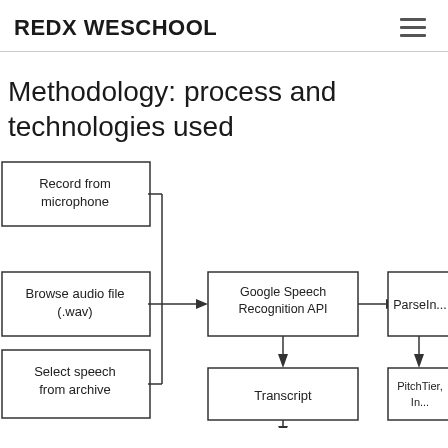REDX WESCHOOL
Methodology: process and technologies used
[Figure (flowchart): Flowchart showing methodology process: three input sources (Record from microphone, Browse audio file (.wav), Select speech from archive) feed into Google Speech Recognition API, which outputs to Transcript (below) and to ParseIn... (right, partially visible). PitchTier, In... is shown at bottom right (partially visible). Arrows connect the boxes.]